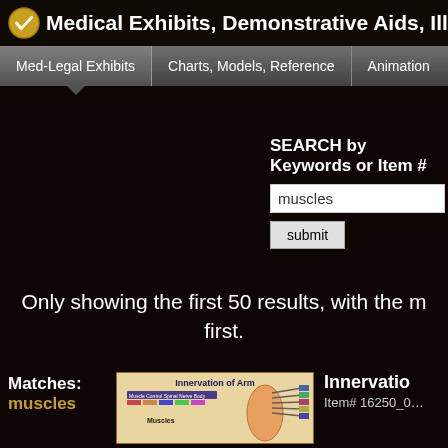Medical Exhibits, Demonstrative Aids, Illus…
Med-Legal Exhibits   Charts, Models, Reference   Animation…
SEARCH by Keywords or Item #
muscles
submit
Only showing the first 50 results, with the m… first.
Matches: muscles
[Figure (screenshot): Thumbnail image of 'Innervation of Arm' medical exhibit showing nerve anatomy diagram]
Innervatio… Item# 16250_0…